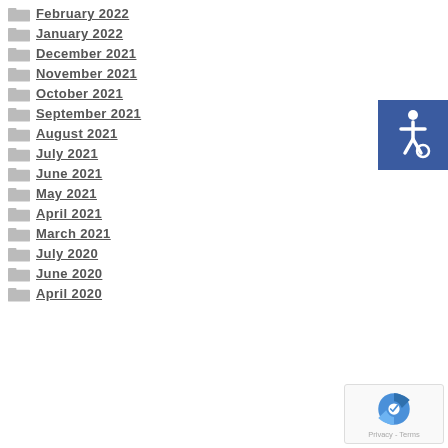February 2022
January 2022
December 2021
November 2021
October 2021
September 2021
August 2021
July 2021
June 2021
May 2021
April 2021
March 2021
July 2020
June 2020
April 2020
[Figure (illustration): Blue accessibility icon with wheelchair symbol]
[Figure (illustration): reCAPTCHA Privacy Terms badge]